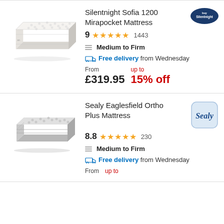[Figure (photo): Silentnight Sofia 1200 Mirapocket mattress product image, cream/white color]
Silentnight Sofia 1200 Mirapocket Mattress
9 ★★★★½ 1443
Medium to Firm
Free delivery from Wednesday
From £319.95 up to 15% off
[Figure (photo): Sealy Eaglesfield Ortho Plus mattress product image, grey/white color]
Sealy Eaglesfield Ortho Plus Mattress
8.8 ★★★★½ 230
Medium to Firm
Free delivery from Wednesday
From up to